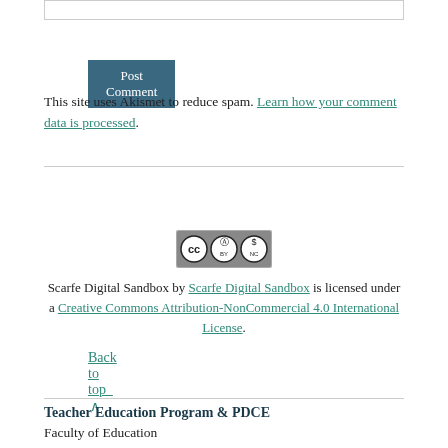Post Comment
This site uses Akismet to reduce spam. Learn how your comment data is processed.
Back to top ∧
[Figure (logo): Creative Commons CC BY-NC license badge]
Scarfe Digital Sandbox by Scarfe Digital Sandbox is licensed under a Creative Commons Attribution-NonCommercial 4.0 International License.
Log In
Teacher Education Program & PDCE
Faculty of Education